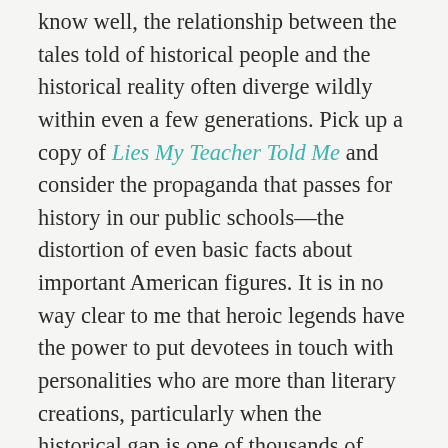know well, the relationship between the tales told of historical people and the historical reality often diverge wildly within even a few generations. Pick up a copy of Lies My Teacher Told Me and consider the propaganda that passes for history in our public schools—the distortion of even basic facts about important American figures. It is in no way clear to me that heroic legends have the power to put devotees in touch with personalities who are more than literary creations, particularly when the historical gap is one of thousands of years. Even in a post-Enlightenment era where we observe a line between fiction and fact that many ancient peoples did not, our “history” is far more literary in content than we like to